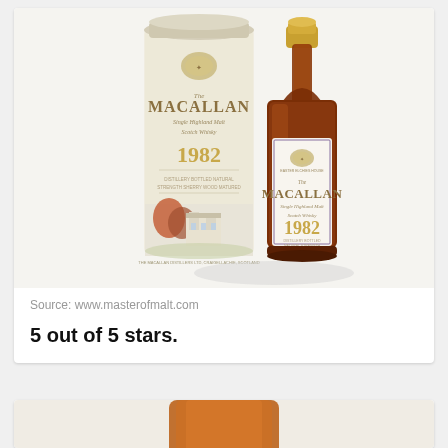[Figure (photo): Macallan 1982 Single Highland Malt Scotch Whisky bottle next to its cylindrical tube packaging, both featuring cream/white labels with gold lettering and a painted estate scene at the bottom of the tube.]
Source: www.masterofmalt.com
5 out of 5 stars.
[Figure (photo): Partial view of another whisky bottle, showing amber liquid, partially cropped at bottom of page.]